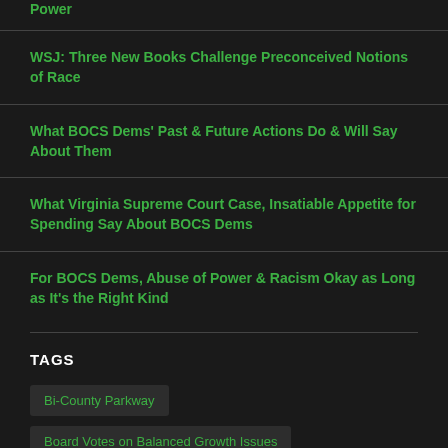Power
WSJ: Three New Books Challenge Preconceived Notions of Race
What BOCS Dems’ Past & Future Actions Do & Will Say About Them
What Virginia Supreme Court Case, Insatiable Appetite for Spending Say About BOCS Dems
For BOCS Dems, Abuse of Power & Racism Okay as Long as It’s the Right Kind
TAGS
Bi-County Parkway
Board Votes on Balanced Growth Issues